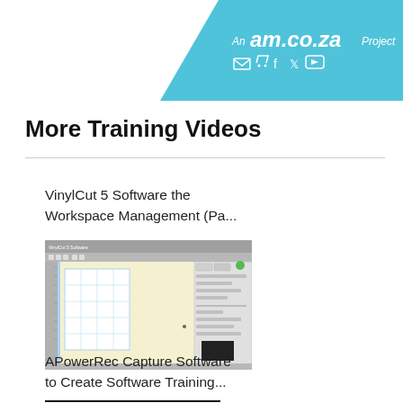An am.co.za Project
More Training Videos
VinylCut 5 Software the Workspace Management (Pa...
[Figure (screenshot): Screenshot of VinylCut 5 software showing the workspace management interface with toolbars, a grid workspace area, and a settings panel on the right side.]
APowerRec Capture Software to Create Software Training...